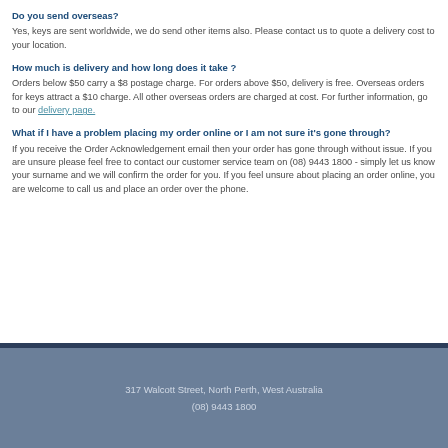Do you send overseas?
Yes, keys are sent worldwide, we do send other items also. Please contact us to quote a delivery cost to your location.
How much is delivery and how long does it take ?
Orders below $50 carry a $8 postage charge. For orders above $50, delivery is free. Overseas orders for keys attract a $10 charge. All other overseas orders are charged at cost. For further information, go to our delivery page.
What if I have a problem placing my order online or I am not sure it's gone through?
If you receive the Order Acknowledgement email then your order has gone through without issue. If you are unsure please feel free to contact our customer service team on (08) 9443 1800 - simply let us know your surname and we will confirm the order for you. If you feel unsure about placing an order online, you are welcome to call us and place an order over the phone.
317 Walcott Street, North Perth, West Australia
(08) 9443 1800